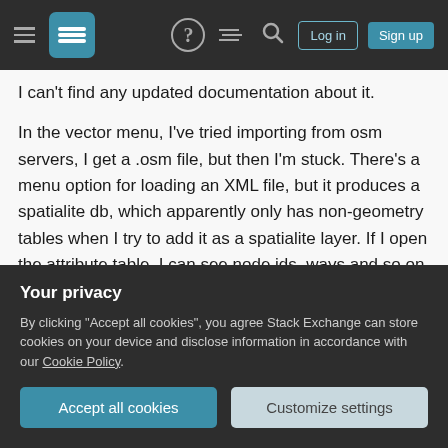Stack Exchange navigation bar with hamburger menu, logo, help, chat, search icons, Log in and Sign up buttons
I can't find any updated documentation about it.
In the vector menu, I've tried importing from osm servers, I get a .osm file, but then I'm stuck. There's a menu option for loading an XML file, but it produces a spatialite db, which apparently only has non-geometry tables when I try to add it as a spatialite layer. If I open the attribute table, I can see node ids, ways and so on, but I can't figure out how to actually make use of them.
I've also tried adding a vector layer from a .osm
Your privacy
By clicking "Accept all cookies", you agree Stack Exchange can store cookies on your device and disclose information in accordance with our Cookie Policy.
Accept all cookies
Customize settings